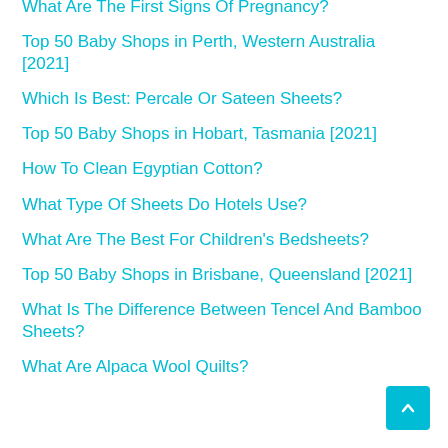What Are The First Signs Of Pregnancy?
Top 50 Baby Shops in Perth, Western Australia [2021]
Which Is Best: Percale Or Sateen Sheets?
Top 50 Baby Shops in Hobart, Tasmania [2021]
How To Clean Egyptian Cotton?
What Type Of Sheets Do Hotels Use?
What Are The Best For Children's Bedsheets?
Top 50 Baby Shops in Brisbane, Queensland [2021]
What Is The Difference Between Tencel And Bamboo Sheets?
What Are Alpaca Wool Quilts?